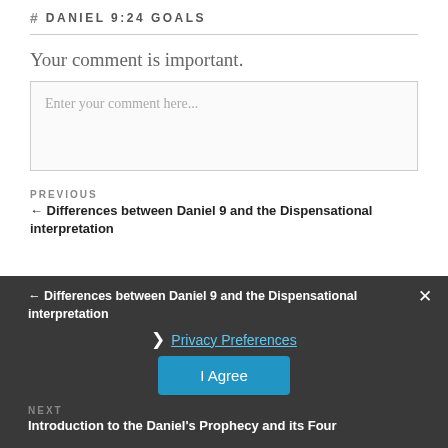# DANIEL 9:24 GOALS
Your comment is important.
Enter your comment here...
PREVIOUS
← Differences between Daniel 9 and the Dispensational interpretation
❯ Privacy Preferences
I Agree
NEXT
Introduction to the Daniel's Prophecy and its Four